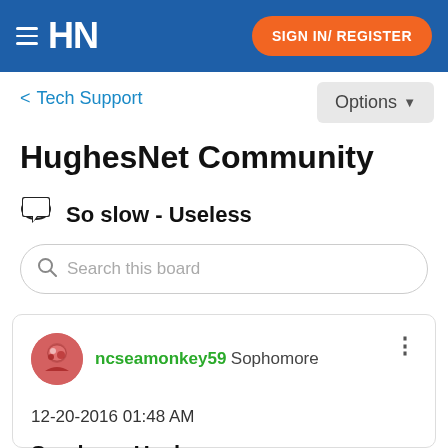HN  SIGN IN/ REGISTER
< Tech Support
Options
HughesNet Community
So slow - Useless
Search this board
ncseamonkey59 Sophomore  12-20-2016 01:48 AM  So slow - Useless